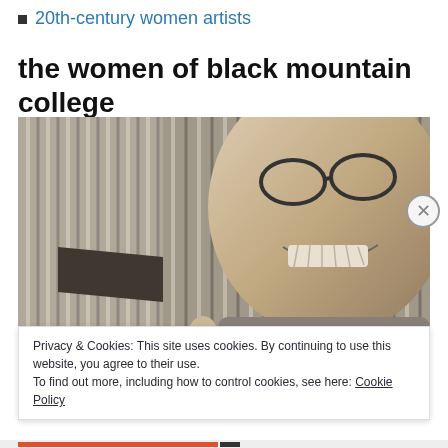20th-century women artists
the women of black mountain college
[Figure (photo): Black and white photograph of a smiling person wearing glasses, leaning forward close to the camera, with corrugated metal siding visible in the background and a smaller figure partially visible in the lower left corner.]
Privacy & Cookies: This site uses cookies. By continuing to use this website, you agree to their use.
To find out more, including how to control cookies, see here: Cookie Policy